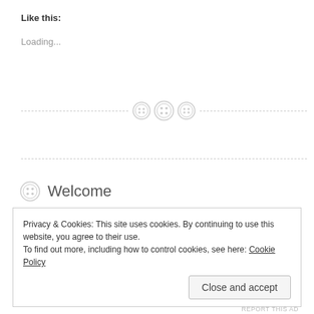Like this:
Loading...
[Figure (illustration): Horizontal dashed divider line with three button/sewing-button icons centered on it]
[Figure (illustration): Horizontal dashed divider line]
Welcome
Privacy & Cookies: This site uses cookies. By continuing to use this website, you agree to their use.
To find out more, including how to control cookies, see here: Cookie Policy
Close and accept